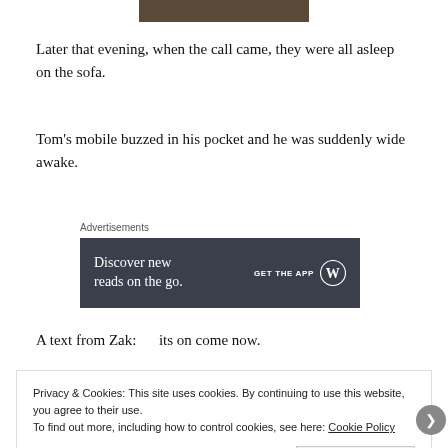[Figure (photo): Partial photo strip at the top of the page, dark brownish tones, cropped]
Later that evening, when the call came, they were all asleep on the sofa.
Tom's mobile buzzed in his pocket and he was suddenly wide awake.
Advertisements
[Figure (infographic): WordPress app advertisement banner: 'Discover new reads on the go. GET THE APP' with WordPress logo, dark background]
A text from Zak:      its on come now.
Privacy & Cookies: This site uses cookies. By continuing to use this website, you agree to their use.
To find out more, including how to control cookies, see here: Cookie Policy
Close and accept